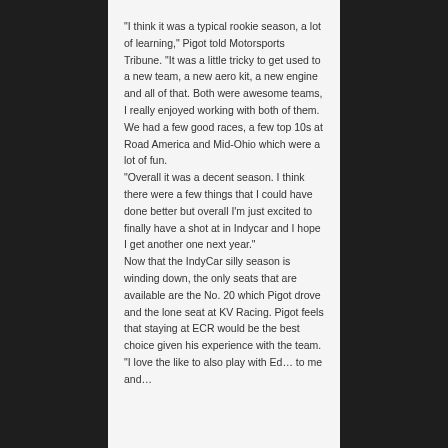“I think it was a typical rookie season, a lot of learning,” Pigot told Motorsports Tribune. “It was a little tricky to get used to a new team, a new aero kit, a new engine and all of that. Both were awesome teams, I really enjoyed working with both of them. We had a few good races, a few top 10s at Road America and Mid-Ohio which were a lot of fun.
“Overall it was a decent season. I think there were a few things that I could have done better but overall I’m just excited to finally have a shot at in Indycar and I hope I get another one next year.”
Now that the IndyCar silly season is winding down, the only seats that are available are the No. 20 which Pigot drove and the lone seat at KV Racing. Pigot feels that staying at ECR would be the best choice given his experience with the team.
“I’d love the like to also play with Ed… to me and…